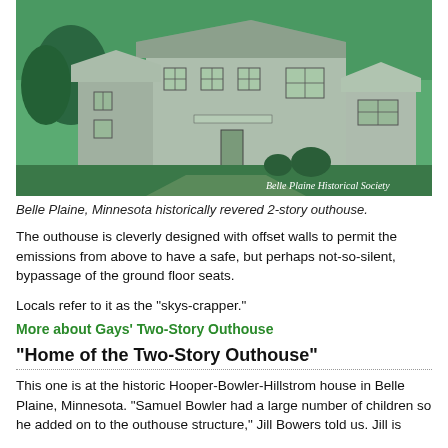[Figure (photo): Black and white photo of a two-story house with green tint overlay, labeled 'Belle Plaine Historical Society' in lower right corner.]
Belle Plaine, Minnesota historically revered 2-story outhouse.
The outhouse is cleverly designed with offset walls to permit the emissions from above to have a safe, but perhaps not-so-silent, bypassage of the ground floor seats.
Locals refer to it as the "skys-crapper."
More about Gays' Two-Story Outhouse
"Home of the Two-Story Outhouse"
This one is at the historic Hooper-Bowler-Hillstrom house in Belle Plaine, Minnesota. "Samuel Bowler had a large number of children so he added on to the outhouse structure," Jill Bowers told us. Jill is